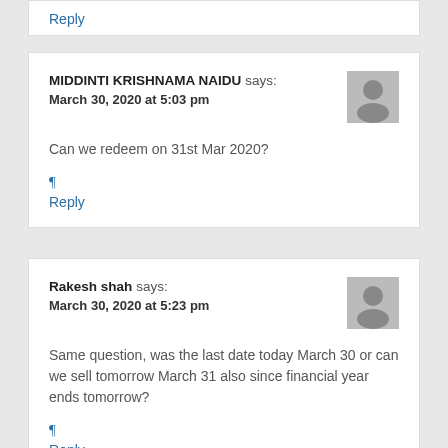Reply
MIDDINTI KRISHNAMA NAIDU says:
March 30, 2020 at 5:03 pm

Can we redeem on 31st Mar 2020?

¶
Reply
Rakesh shah says:
March 30, 2020 at 5:23 pm

Same question, was the last date today March 30 or can we sell tomorrow March 31 also since financial year ends tomorrow?

¶
Reply